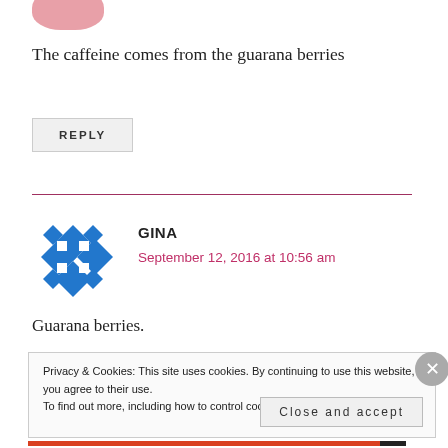[Figure (illustration): Pink circular avatar at top left, partially cropped]
The caffeine comes from the guarana berries
REPLY
[Figure (illustration): Blue geometric snowflake/star avatar icon for user Gina]
GINA
September 12, 2016 at 10:56 am
Guarana berries.
Privacy & Cookies: This site uses cookies. By continuing to use this website, you agree to their use.
To find out more, including how to control cookies, see here: Cookie Policy
Close and accept